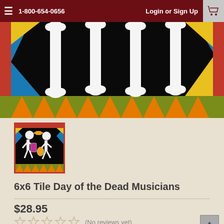1-800-654-0656   Login or Sign Up
[Figure (illustration): Decorative banner showing skeleton figures (Day of the Dead / Dia de Muertos style) with bones raised, on a black background with colorful geometric triangle border pattern in red, blue, yellow, orange, and olive green.]
[Figure (illustration): Small product thumbnail showing two skeleton mariachi musicians playing instruments, wearing colorful attire including a sombrero, on a black background with colorful border.]
6x6 Tile Day of the Dead Musicians
$28.95
(No reviews yet)
Write a Review
SKU:  7928A